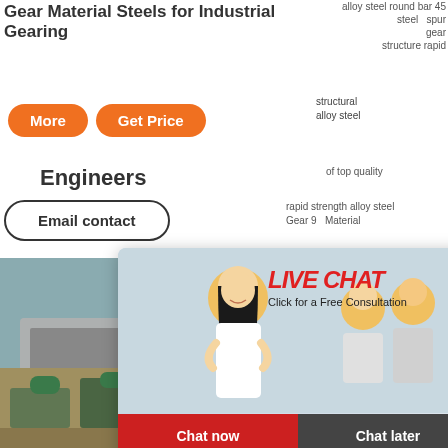Gear Material Steels for Industrial Gearing
alloy steel structural alloy steel round bar 45 steel spur gear structure rapid
[Figure (screenshot): Orange 'More' and 'Get Price' buttons]
Engineers of top quality rapid strength alloy steel Gear 9 Material
[Figure (screenshot): Email contact button with rounded border]
[Figure (photo): Live chat popup overlay with woman in hard hat and two workers behind, LIVE CHAT title in red, Chat now and Chat later buttons]
[Figure (photo): Industrial mobile crushing machine in outdoor setting]
[Figure (photo): Industrial equipment parts/gears on ground]
[Figure (photo): Right sidebar: blue background with cone crusher machine image, hour online text, Click me to chat>> button]
hour online
Click me to chat>>
Enquiry
yuwencrusher